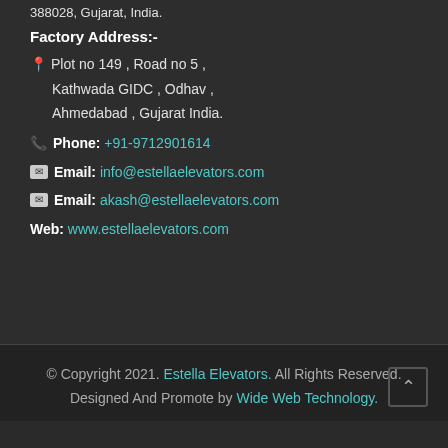388028, Gujarat, India.
Factory Address:-
📍 Plot no 149 , Road no 5 , Kathwada GIDC , Odhav , Ahmedabad , Gujarat India.
📞 Phone: +91-9712901614
✉ Email: info@estellaelevators.com
✉ Email: akash@estellaelevators.com
Web: www.estellaelevators.com
© Copyright 2021. Estella Elevators. All Rights Reserved. Designed And Promote by Wide Web Technology.